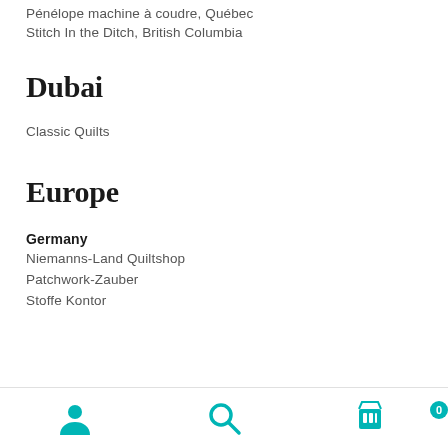Pénélope machine à coudre, Québec
Stitch In the Ditch, British Columbia
Dubai
Classic Quilts
Europe
Germany
Niemanns-Land Quiltshop
Patchwork-Zauber
Stoffe Kontor
[Figure (infographic): Bottom navigation bar with user account icon, search icon, and shopping cart icon with badge showing 0]